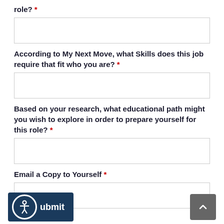role? *
[text input box]
According to My Next Move, what Skills does this job require that fit who you are? *
[text input box]
Based on your research, what educational path might you wish to explore in order to prepare yourself for this role? *
[text input box]
Email a Copy to Yourself *
[text input box]
Submit